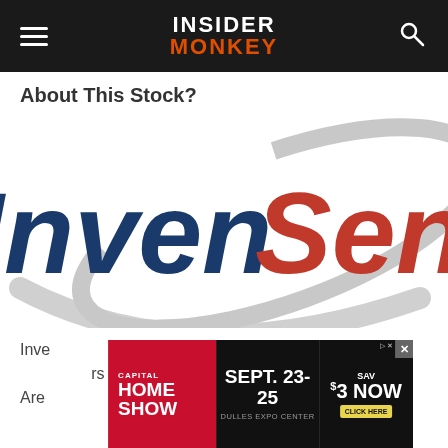INSIDER MONKEY
About This Stock?
[Figure (logo): InvenSense company logo with large navy blue and red-orange text 'InvenSense' and a grey orbital ring graphic around it]
Inve... rs Are
[Figure (screenshot): Advertisement banner for Capital Home Show, Sept. 23-25, Dulles Expo Center, Save $3 Now, Click Here]